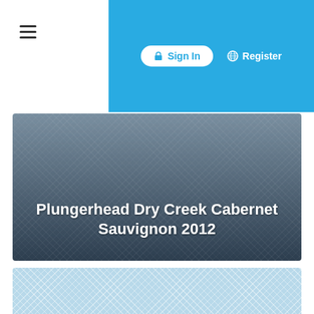Sign In   Register
Plungerhead Dry Creek Cabernet Sauvignon 2012
[Figure (other): Light blue chevron-patterned decorative banner section at bottom of page]